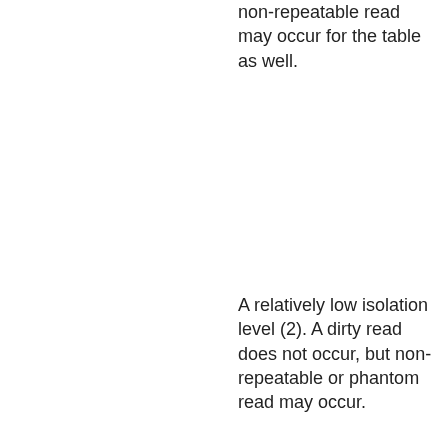non-repeatable read may occur for the table as well.
A relatively low isolation level (2). A dirty read does not occur, but non-repeatable or phantom read may occur.
| TRAN_COMMIT_CLASS_COMMIT_INSTANCE | The default isolation of CUBRID (3). A dirty, non- |